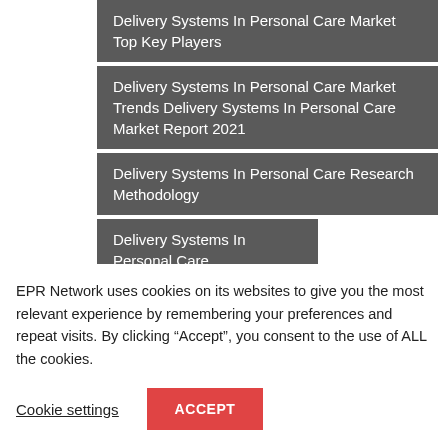Delivery Systems In Personal Care Market Top Key Players
Delivery Systems In Personal Care Market Trends Delivery Systems In Personal Care Market Report 2021
Delivery Systems In Personal Care Research Methodology
Delivery Systems In Personal Care Segmentation
Delivery Systems In Personal Care Statistics
Demand Of Delivery Systems In Personal Care
EPR Network uses cookies on its websites to give you the most relevant experience by remembering your preferences and repeat visits. By clicking “Accept”, you consent to the use of ALL the cookies.
Cookie settings   ACCEPT